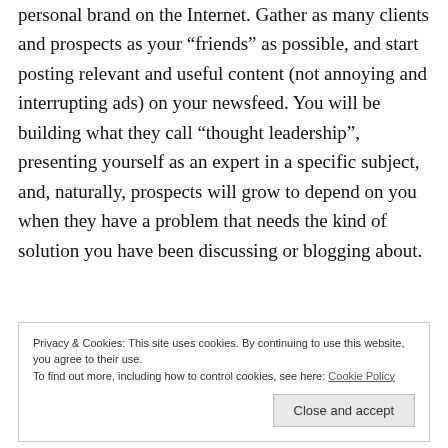personal brand on the Internet. Gather as many clients and prospects as your “friends” as possible, and start posting relevant and useful content (not annoying and interrupting ads) on your newsfeed. You will be building what they call “thought leadership”, presenting yourself as an expert in a specific subject, and, naturally, prospects will grow to depend on you when they have a problem that needs the kind of solution you have been discussing or blogging about.
Privacy & Cookies: This site uses cookies. By continuing to use this website, you agree to their use.
To find out more, including how to control cookies, see here: Cookie Policy